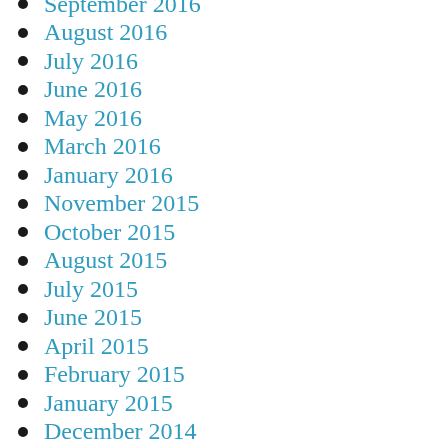September 2016
August 2016
July 2016
June 2016
May 2016
March 2016
January 2016
November 2015
October 2015
August 2015
July 2015
June 2015
April 2015
February 2015
January 2015
December 2014